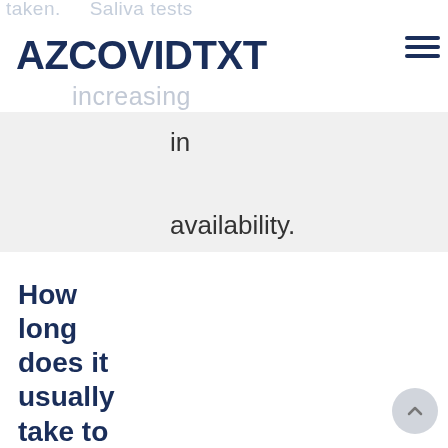AZCOVIDTXT
taken. Saliva tests
increasing
in availability.
Usually a few minutes
Usually a few days
Usually a few minutes (rapid tests) up to several days
How long does it usually take to receive results?